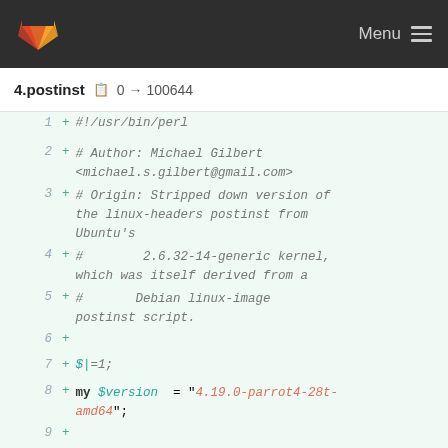Menu
4.postinst  0 → 100644
[Figure (screenshot): GitLab diff view showing postinst perl script lines 1-11. Line 1: + #!/usr/bin/perl, Line 2: + # Author: Michael Gilbert <michael.s.gilbert@gmail.com>, Line 3: + # Origin: Stripped down version of the linux-headers postinst from Ubuntu's, Line 4: + #         2.6.32-14-generic kernel, which was itself derived from a, Line 5: + #         Debian linux-image postinst script., Line 6: +, Line 7: + $|=1;, Line 8: + my $version = "4.19.0-parrot4-28t-amd64";, Line 9: +, Line 10: + if (-d "/etc/kernel/header_postinst.d") {, Line 11: + system ("run-parts --report --]